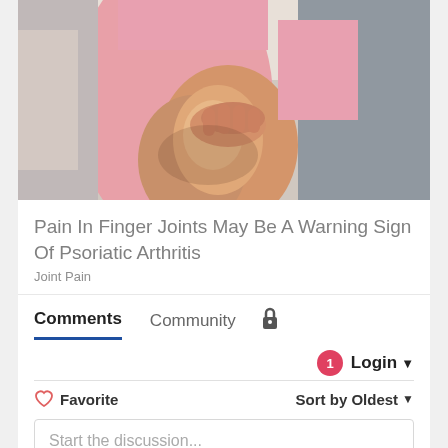[Figure (photo): Person sitting and holding their knee joint, wearing pink pants and a grey jacket, suggesting joint pain]
Pain In Finger Joints May Be A Warning Sign Of Psoriatic Arthritis
Joint Pain
Comments  Community  🔒
1  Login ▾
♡ Favorite   Sort by Oldest ▾
Start the discussion...